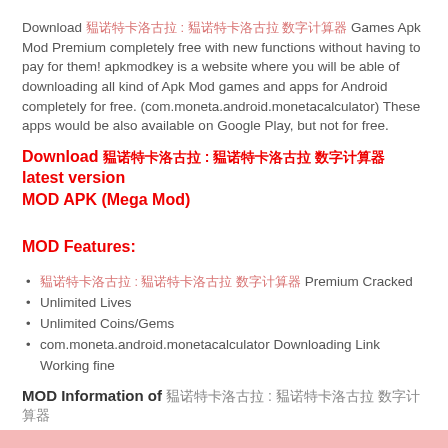Download 莫诺特卡洛古拉 : 莫诺特卡洛古拉 数字计算器 Games Apk Mod Premium completely free with new functions without having to pay for them! apkmodkey is a website where you will be able of downloading all kind of Apk Mod games and apps for Android completely for free. (com.moneta.android.monetacalculator) These apps would be also available on Google Play, but not for free.
Download 莫诺特卡洛古拉 : 莫诺特卡洛古拉 数字计算器 latest version MOD APK (Mega Mod)
MOD Features:
莫诺特卡洛古拉 : 莫诺特卡洛古拉 数字计算器 Premium Cracked
Unlimited Lives
Unlimited Coins/Gems
com.moneta.android.monetacalculator Downloading Link Working fine
MOD Information of 莫诺特卡洛古拉 : 莫诺特卡洛古拉 数字计算器